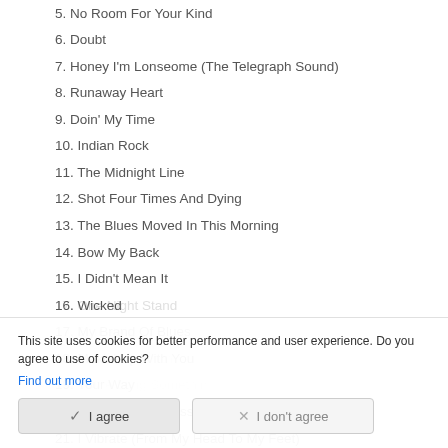5. No Room For Your Kind
6. Doubt
7. Honey I'm Lonseome (The Telegraph Sound)
8. Runaway Heart
9. Doin' My Time
10. Indian Rock
11. The Midnight Line
12. Shot Four Times And Dying
13. The Blues Moved In This Morning
14. Bow My Back
15. I Didn't Mean It
16. Wicked
17. My Brand Of Blues
18. Makin' Up With You
19. Your Way
20. She's A Going Jessie
21. I Vibrate (From My Head To My Feet)
This site uses cookies for better performance and user experience. Do you agree to use of cookies?
Find out more
I agree
I don't agree